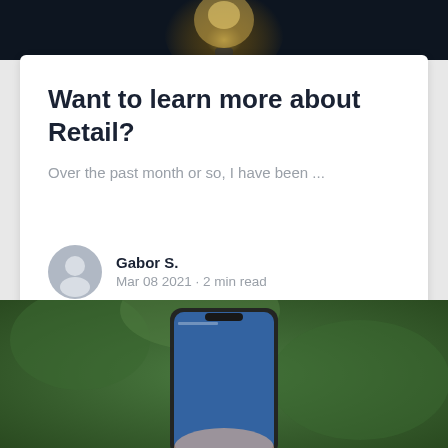[Figure (photo): Dark background photo of a glowing light bulb, partially visible at top of page]
Want to learn more about Retail?
Over the past month or so, I have been ...
Gabor S. — Mar 08 2021 · 2 min read
[Figure (photo): Photo of a hand holding a smartphone with a green blurred background, partially visible at bottom of page]